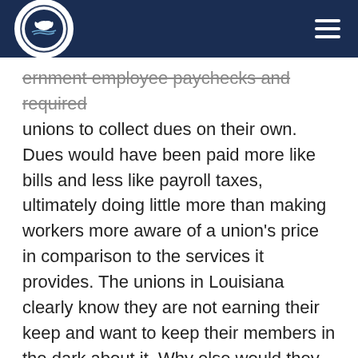Pelican Institute for Public Policy header with logo and navigation
ernment employee paychecks and required unions to collect dues on their own. Dues would have been paid more like bills and less like payroll taxes, ultimately doing little more than making workers more aware of a union's price in comparison to the services it provides. The unions in Louisiana clearly know they are not earning their keep and want to keep their members in the dark about it. Why else would they be so opposed to a more transparent dues collection process?
Given these points, it is no wonder unions are desperate to keep membership.